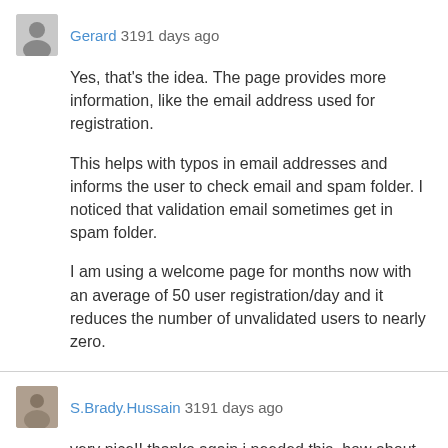Gerard 3191 days ago
Yes, that's the idea. The page provides more information, like the email address used for registration.
This helps with typos in email addresses and informs the user to check email and spam folder. I noticed that validation email sometimes get in spam folder.
I am using a welcome page for months now with an average of 50 user registration/day and it reduces the number of unvalidated users to nearly zero.
S.Brady.Hussain 3191 days ago
very nice!! thanks again i needed this, how about customised email notifications? and adding html to the activation email? bk tmrw looking forward to using this plugin!